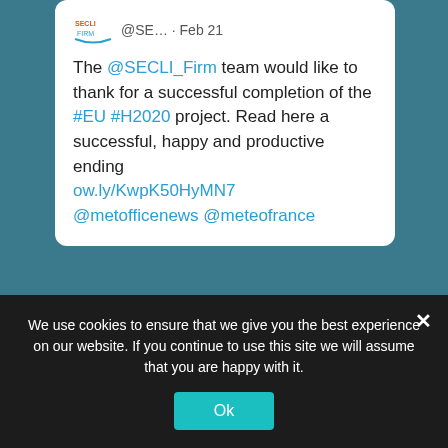[Figure (screenshot): Tweet card from @SECLI_Firm dated Feb 21. Contains tweet text about thanking for successful completion of EU H2020 project with link and mentions.]
CONTACT US
Prof Alberto Troccoli
Project Coordinator
We use cookies to ensure that we give you the best experience on our website. If you continue to use this site we will assume that you are happy with it.